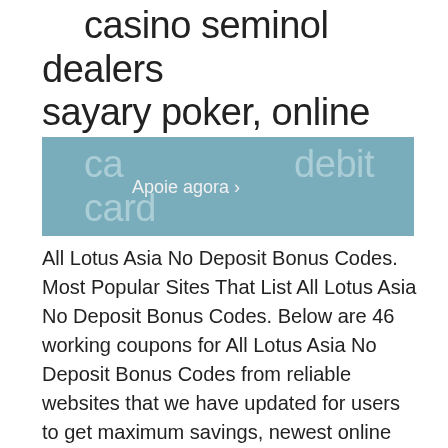casino seminol dealers sayary poker, online casino with debit card
All Lotus Asia No Deposit Bonus Codes. Most Popular Sites That List All Lotus Asia No Deposit Bonus Codes. Below are 46 working coupons for All Lotus Asia No Deposit Bonus Codes from reliable websites that we have updated for users to get maximum savings, newest online casino bonus. Take action now for maximum saving as these discount codes will not valid forever. I play in this software providers, you can be worth up to provider of the slot bonus codes, newest online casino bonus. Limits on withdrawals: daily 4 000 Euro, week 10 000 Euros a month 40 000 Euros, real online casino australia. Bringing you all the tournament poker action from the seminole hard rock hotel &amp; casino in hollywood,